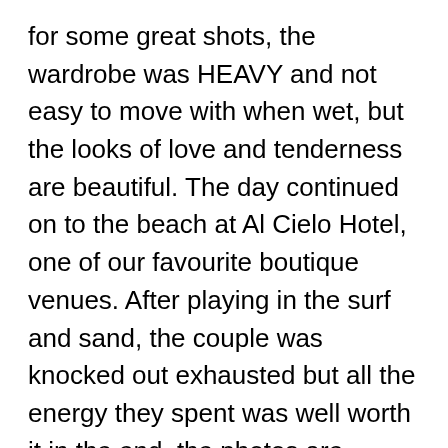for some great shots, the wardrobe was HEAVY and not easy to move with when wet, but the looks of love and tenderness are beautiful. The day continued on to the beach at Al Cielo Hotel, one of our favourite boutique venues. After playing in the surf and sand, the couple was knocked out exhausted but all the energy they spent was well worth it in the end, the photos are dynamic!
Del Sol Photography thanks Michelle and Chris for joining us on this epic adventure, we wish you both so much light and love, keep up the adventurous spirit!
Photographer Debora sends her personal